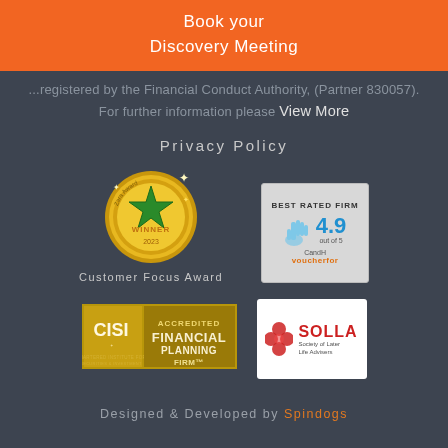Book your
Discovery Meeting
registered by the Financial Conduct Authority, (Partner 830057). For further information please View More
Privacy Policy
[Figure (logo): Gold star award medal with green star and text WINNER, Customer Focus Award]
Customer Focus Award
[Figure (logo): Best Rated Firm badge showing 4.9 out of 5, CandH VoucherFor]
[Figure (logo): CISI Accredited Financial Planning Firm logo]
[Figure (logo): SOLLA Society of Later Life Advisers logo]
Designed & Developed by Spindogs